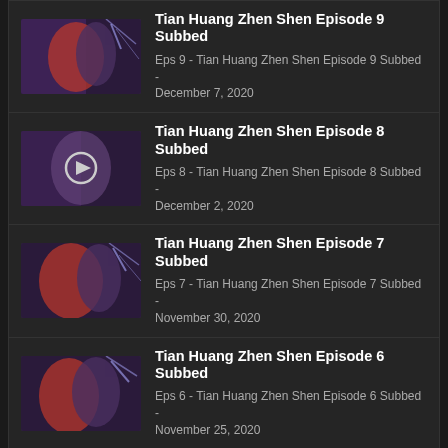Tian Huang Zhen Shen Episode 9 Subbed
Eps 9 - Tian Huang Zhen Shen Episode 9 Subbed - December 7, 2020
Tian Huang Zhen Shen Episode 8 Subbed
Eps 8 - Tian Huang Zhen Shen Episode 8 Subbed - December 2, 2020
Tian Huang Zhen Shen Episode 7 Subbed
Eps 7 - Tian Huang Zhen Shen Episode 7 Subbed - November 30, 2020
Tian Huang Zhen Shen Episode 6 Subbed
Eps 6 - Tian Huang Zhen Shen Episode 6 Subbed - November 25, 2020
Download Tian Huang Zhen Shen Episode 8 Subbed, Watch Tian Huang Zhen Shen Episode on the like and share button always updated at AnimeXin. Don't forget to watch other anime